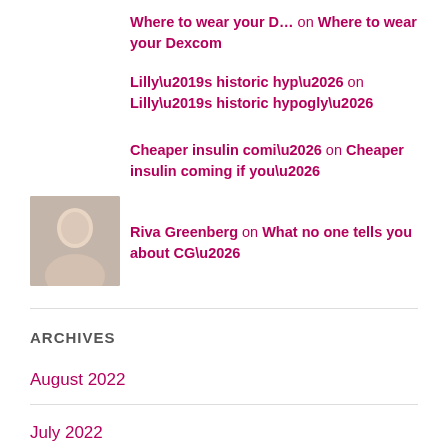Where to wear your D… on Where to wear your Dexcom
Lilly’s historic hyp… on Lilly’s historic hypogly…
Cheaper insulin comi… on Cheaper insulin coming if you…
Riva Greenberg on What no one tells you about CG…
ARCHIVES
August 2022
July 2022
June 2022